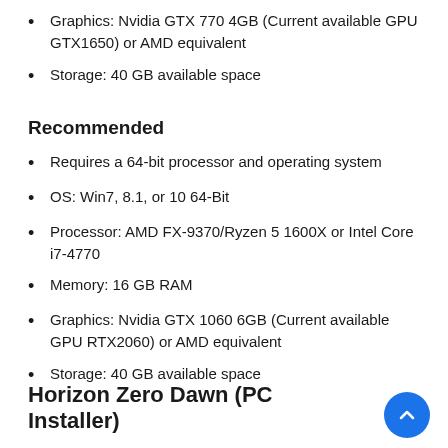Graphics: Nvidia GTX 770 4GB (Current available GPU GTX1650) or AMD equivalent
Storage: 40 GB available space
Recommended
Requires a 64-bit processor and operating system
OS: Win7, 8.1, or 10 64-Bit
Processor: AMD FX-9370/Ryzen 5 1600X or Intel Core i7-4770
Memory: 16 GB RAM
Graphics: Nvidia GTX 1060 6GB (Current available GPU RTX2060) or AMD equivalent
Storage: 40 GB available space
Horizon Zero Dawn (PC Installer)